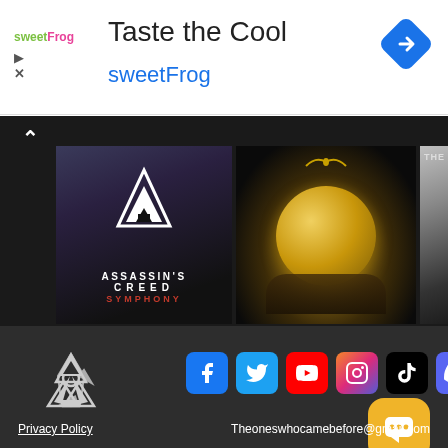[Figure (advertisement): sweetFrog ad banner with logo, title 'Taste the Cool', brand name 'sweetFrog', navigation arrow diamond icon top right]
[Figure (screenshot): Carousel of gaming/entertainment content: Assassin's Creed Symphony poster, golden orb figure, hooded Assassin's Creed character with 'THE ONE' text, with up arrow navigation control]
[Figure (logo): White triquetra/trinity knot style logo on dark background]
[Figure (infographic): Social media icons row: Facebook, Twitter, YouTube, Instagram, TikTok, Discord]
[Figure (other): Yellow/gold rounded chat bubble icon]
Privacy Policy    Theoneswhocamebefore@gmail.com